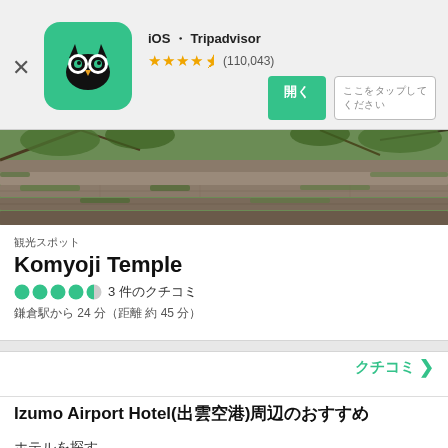iOS ・ Tripadvisor ★★★★½ (110,043)
[Figure (logo): Tripadvisor owl logo on green rounded square background]
[Figure (photo): Stone steps covered with moss and surrounded by green foliage — Komyoji Temple]
観光スポット
Komyoji Temple
●●●●◑ 3 件のクチコミ
鎌倉駅から 24 分（距離 約 45 分）
クチコミ ›
Izumo Airport Hotel(出雲空港)周辺のおすすめ
ホテルを探す
レストラン
観光スポット